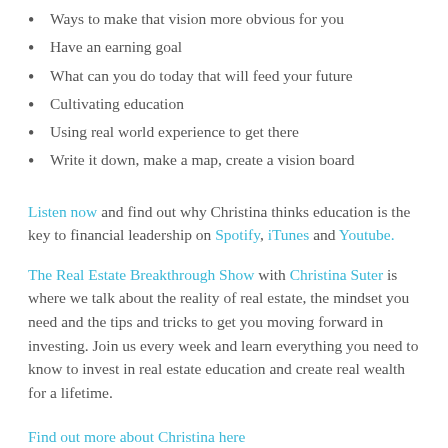Ways to make that vision more obvious for you
Have an earning goal
What can you do today that will feed your future
Cultivating education
Using real world experience to get there
Write it down, make a map, create a vision board
Listen now and find out why Christina thinks education is the key to financial leadership on Spotify, iTunes and Youtube.
The Real Estate Breakthrough Show with Christina Suter is where we talk about the reality of real estate, the mindset you need and the tips and tricks to get you moving forward in investing. Join us every week and learn everything you need to know to invest in real estate education and create real wealth for a lifetime.
Find out more about Christina here